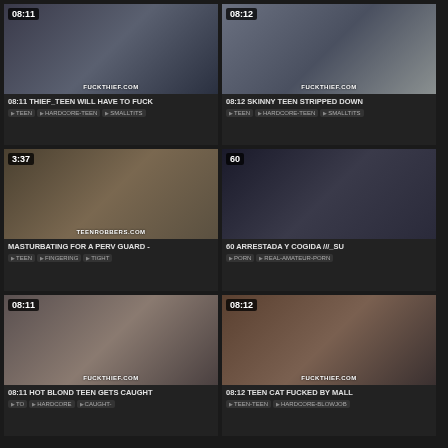[Figure (screenshot): Video thumbnail with watermark FUCKTHIEF.COM, duration 08:11]
08:11 THIEF_TEEN WILL HAVE TO FUCK
TEEN  HARDCORE-TEEN  SMALLTITS
[Figure (screenshot): Video thumbnail with watermark FUCKTHIEF.COM, duration 08:12]
08:12 SKINNY TEEN STRIPPED DOWN
TEEN  HARDCORE-TEEN  SMALLTITS
[Figure (screenshot): Video thumbnail with watermark TEENROBBERS.com, duration 3:37]
MASTURBATING FOR A PERV GUARD -
TEEN  FINGERING  TIGHT
[Figure (screenshot): Video thumbnail, duration 60]
60 ARRESTADA Y COGIDA ///_SU
PORN  REAL-AMATEUR-PORN
[Figure (screenshot): Video thumbnail with watermark FuckThief.com, duration 08:11]
08:11 HOT BLOND TEEN GETS CAUGHT
TO  HARDCORE  CAUGHT-
[Figure (screenshot): Video thumbnail with watermark FUCKTHIEF.COM, duration 08:12]
08:12 TEEN CAT FUCKED BY MALL
TEEN-TEEN  HARDCORE-BLOWJOB